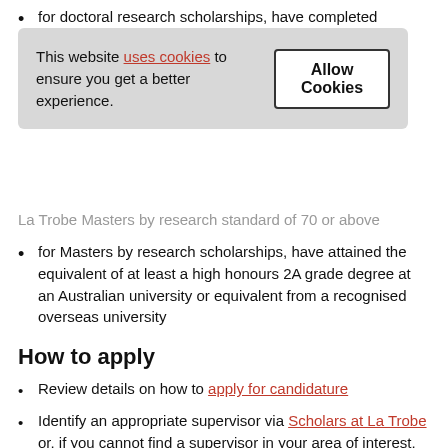for doctoral research scholarships, have completed
[Figure (screenshot): Cookie consent banner with text 'This website uses cookies to ensure you get a better experience.' and an 'Allow Cookies' button]
La Trobe Masters by research standard of 70 or above
for Masters by research scholarships, have attained the equivalent of at least a high honours 2A grade degree at an Australian university or equivalent from a recognised overseas university
How to apply
Review details on how to apply for candidature
Identify an appropriate supervisor via Scholars at La Trobe or, if you cannot find a supervisor in your area of interest, you can submit an enquiry using